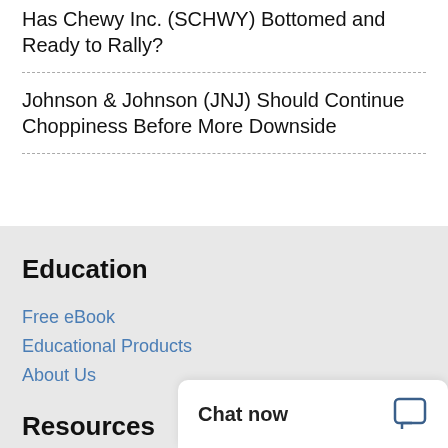Has Chewy Inc. (SCHWY) Bottomed and Ready to Rally?
Johnson & Johnson (JNJ) Should Continue Choppiness Before More Downside
Education
Free eBook
Educational Products
About Us
Resources
Chat now